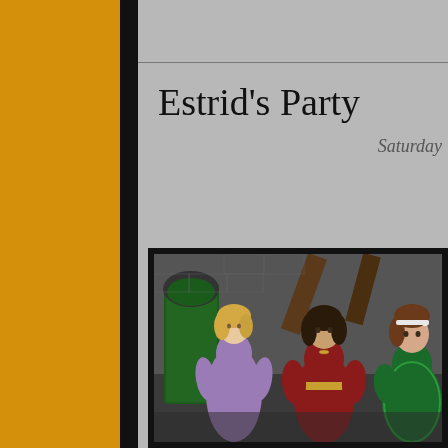Estrid's Party
Saturday
[Figure (screenshot): Screenshot from a medieval fantasy game (likely The Sims Medieval or similar) showing three female characters in period costumes — one in a purple/lavender gown, one in a red dress with gold belt, and one in a green dress — standing in a stone building interior with wooden beams and green doors.]